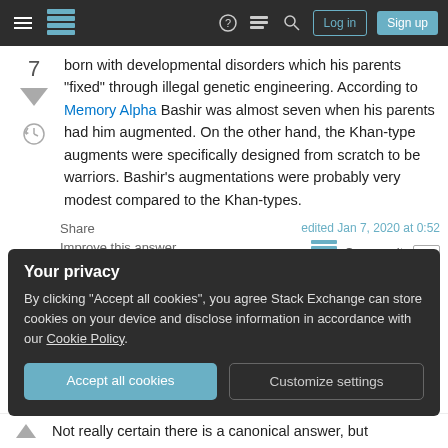Stack Exchange navigation bar with hamburger menu, logo, help, chat, search icons, Log in and Sign up buttons
born with developmental disorders which his parents "fixed" through illegal genetic engineering. According to Memory Alpha Bashir was almost seven when his parents had him augmented. On the other hand, the Khan-type augments were specifically designed from scratch to be warriors. Bashir's augmentations were probably very modest compared to the Khan-types.
Share
Improve this answer
edited Jan 7, 2020 at 0:52
Community Bot
Your privacy
By clicking "Accept all cookies", you agree Stack Exchange can store cookies on your device and disclose information in accordance with our Cookie Policy.
Accept all cookies   Customize settings
Not really certain there is a canonical answer, but